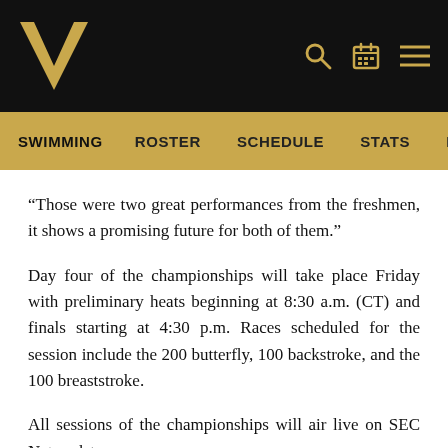Vanderbilt Athletics – Swimming
“Those were two great performances from the freshmen, it shows a promising future for both of them.”
Day four of the championships will take place Friday with preliminary heats beginning at 8:30 a.m. (CT) and finals starting at 4:30 p.m. Races scheduled for the session include the 200 butterfly, 100 backstroke, and the 100 breaststroke.
All sessions of the championships will air live on SEC Network+.